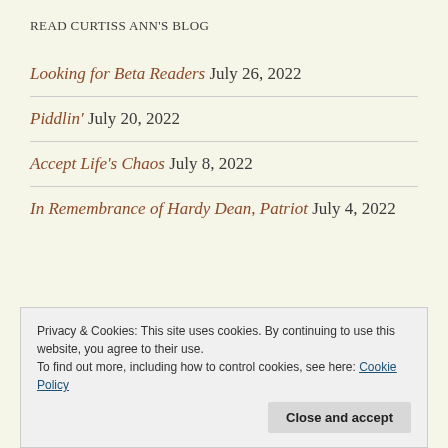READ CURTISS ANN'S BLOG
Looking for Beta Readers July 26, 2022
Piddlin' July 20, 2022
Accept Life's Chaos July 8, 2022
In Remembrance of Hardy Dean, Patriot July 4, 2022
Privacy & Cookies: This site uses cookies. By continuing to use this website, you agree to their use.
To find out more, including how to control cookies, see here: Cookie Policy
Close and accept